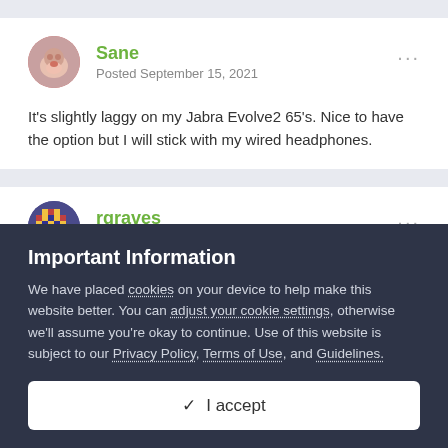Sane
Posted September 15, 2021
It's slightly laggy on my Jabra Evolve2 65's. Nice to have the option but I will stick with my wired headphones.
rgraves
Posted September 15, 2021
Important Information
We have placed cookies on your device to help make this website better. You can adjust your cookie settings, otherwise we'll assume you're okay to continue. Use of this website is subject to our Privacy Policy, Terms of Use, and Guidelines.
✓ I accept